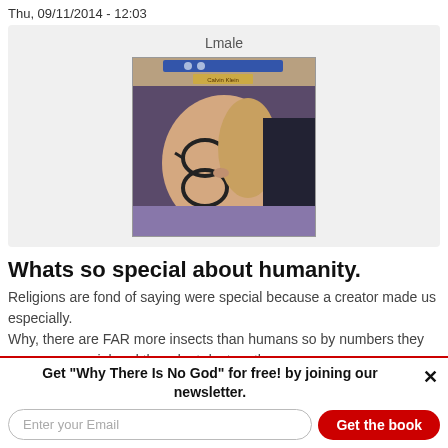Thu, 09/11/2014 - 12:03
Lmale
[Figure (photo): Profile photo of user Lmale: a person lying down, wearing glasses, seen from above/sideways, with Calvin Klein branded item visible.]
Whats so special about humanity.
Religions are fond of saying were special because a creator made us especially.
Why, there are FAR more insects than humans so by numbers they are more special and they dont destroy the
Get "Why There Is No God" for free! by joining our newsletter.